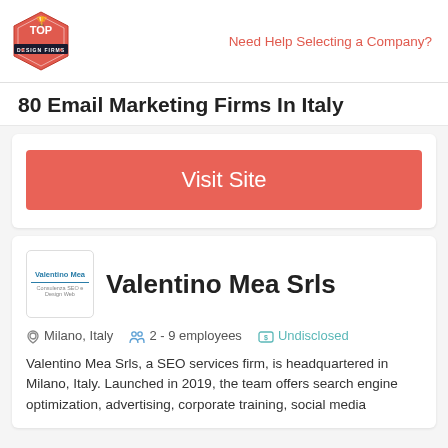Need Help Selecting a Company?
80 Email Marketing Firms In Italy
[Figure (other): Red 'Visit Site' button]
Valentino Mea Srls
Milano, Italy   2 - 9 employees   Undisclosed
Valentino Mea Srls, a SEO services firm, is headquartered in Milano, Italy. Launched in 2019, the team offers search engine optimization, advertising, corporate training, social media